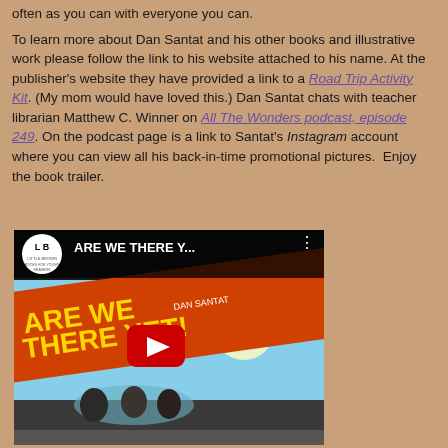often as you can with everyone you can.  To learn more about Dan Santat and his other books and illustrative work please follow the link to his website attached to his name.  At the publisher's website they have provided a link to a Road Trip Activity Kit. (My mom would have loved this.)  Dan Santat chats with teacher librarian Matthew C. Winner on All The Wonders podcast, episode 249.  On the podcast page is a link to Santat's Instagram account where you can view all his back-in-time promotional pictures.  Enjoy the book trailer.
[Figure (screenshot): YouTube video thumbnail for 'Are We There Yet?' book by Dan Santat, showing the book cover illustration with children in a car and the title text, with YouTube play button overlay and Little Brown Books logo.]